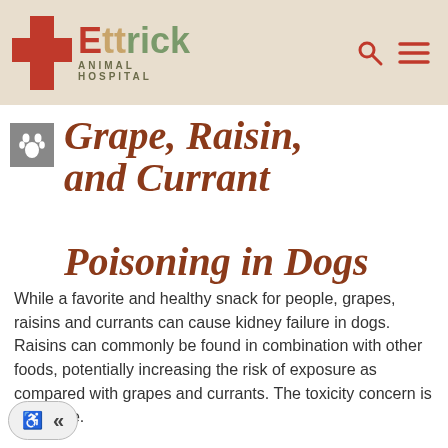Ettrick Animal Hospital
Grape, Raisin, and Currant Poisoning in Dogs
While a favorite and healthy snack for people, grapes, raisins and currants can cause kidney failure in dogs. Raisins can commonly be found in combination with other foods, potentially increasing the risk of exposure as compared with grapes and currants. The toxicity concern is the same.